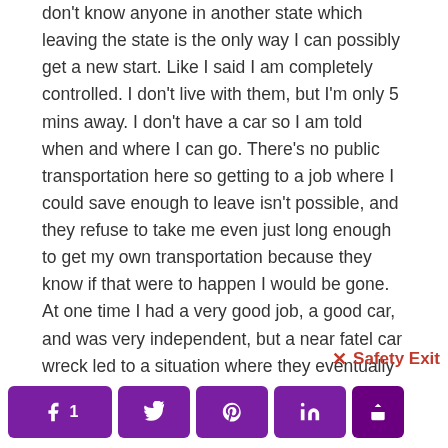don't know anyone in another state which leaving the state is the only way I can possibly get a new start. Like I said I am completely controlled. I don't live with them, but I'm only 5 mins away. I don't have a car so I am told when and where I can go. There's no public transportation here so getting to a job where I could save enough to leave isn't possible, and they refuse to take me even just long enough to get my own transportation because they know if that were to happen I would be gone. At one time I had a very good job, a good car, and was very independent, but a near fatel car wreck led to a situation where they eventually got control. If you or anyone reading this knows of any organizations (I've tried all the well known ones but as I said this is very unusual
✕ Safety Exit
Facebook 1 | Twitter | Pinterest | LinkedIn | Share